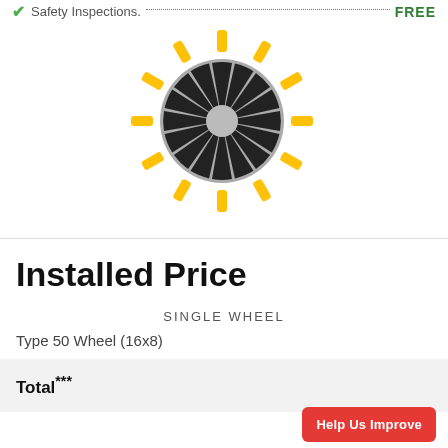Safety Inspections. . . . . . . . . . . . . . . . . . . . . FREE
[Figure (illustration): Illustrated wheel/rim icon with yellow sun-ray spokes and dark gray tire treads on a light gray circular background]
Installed Price
SINGLE WHEEL
Type 50 Wheel (16x8)
Total***